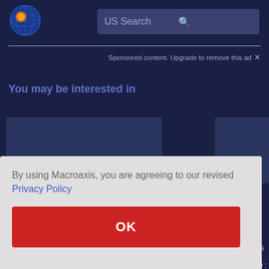[Figure (logo): Macroaxis globe logo — orange and blue circular icon]
US Search
Sponsored content. Upgrade to remove this ad ×
You may be interested in
By using Macroaxis, you are agreeing to our revised Privacy Policy
OK